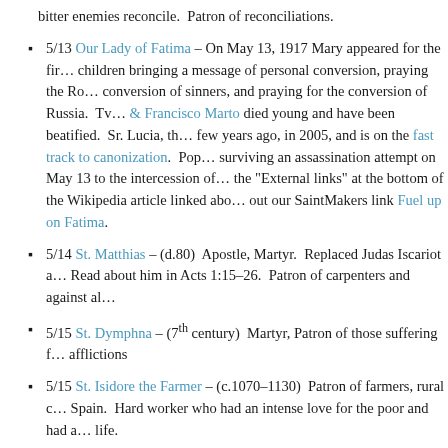bitter enemies reconcile. Patron of reconciliations.
5/13 Our Lady of Fatima – On May 13, 1917 Mary appeared for the first time to children bringing a message of personal conversion, praying the Rosary, conversion of sinners, and praying for the conversion of Russia. Two seers Jacinta & Francisco Marto died young and have been beatified. Sr. Lucia, the third, died a few years ago, in 2005, and is on the fast track to canonization. Pope John Paul II attributed surviving an assassination attempt on May 13 to the intercession of Our Lady. Check out the "External links" at the bottom of the Wikipedia article linked above. Also check out our SaintMakers link Fuel up on Fatima.
5/14 St. Matthias – (d.80) Apostle, Martyr. Replaced Judas Iscariot as the 12th Apostle. Read about him in Acts 1:15-26. Patron of carpenters and against alcoholism.
5/15 St. Dymphna – (7th century) Martyr, Patron of those suffering from mental afflictions
5/15 St. Isidore the Farmer – (c.1070-1130) Patron of farmers, rural communities, and Spain. Hard worker who had an intense love for the poor and had a very holy married life.
5/16 St. Brendan the Navigator – (460-c.577) Irish monk renown for his legendary quest to find the Isle of the Blessed. He and 60 other Irishmen may have been the first Europeans to discover America (even before Leif Erickson, another Catholic who explored America at the turn of the last millennium). Patron of sailors and travelers.